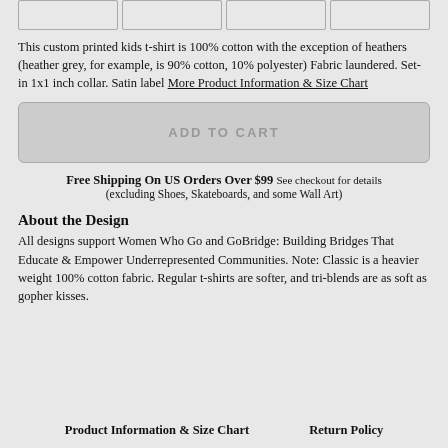[Figure (other): Four selection boxes in a row at the top of the page]
This custom printed kids t-shirt is 100% cotton with the exception of heathers (heather grey, for example, is 90% cotton, 10% polyester) Fabric laundered. Set-in 1x1 inch collar. Satin label More Product Information & Size Chart
ADD TO CART
Free Shipping On US Orders Over $99 See checkout for details (excluding Shoes, Skateboards, and some Wall Art)
About the Design
All designs support Women Who Go and GoBridge: Building Bridges That Educate & Empower Underrepresented Communities. Note: Classic is a heavier weight 100% cotton fabric. Regular t-shirts are softer, and tri-blends are as soft as gopher kisses.
Product Information & Size Chart    Return Policy